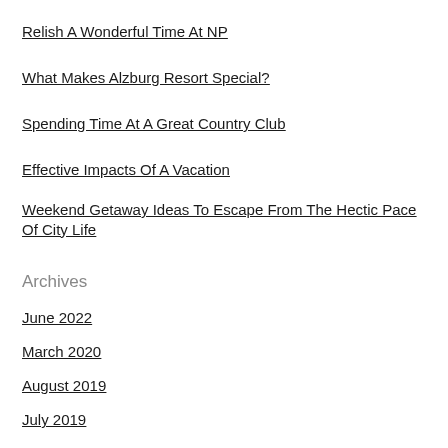Relish A Wonderful Time At NP
What Makes Alzburg Resort Special?
Spending Time At A Great Country Club
Effective Impacts Of A Vacation
Weekend Getaway Ideas To Escape From The Hectic Pace Of City Life
Archives
June 2022
March 2020
August 2019
July 2019